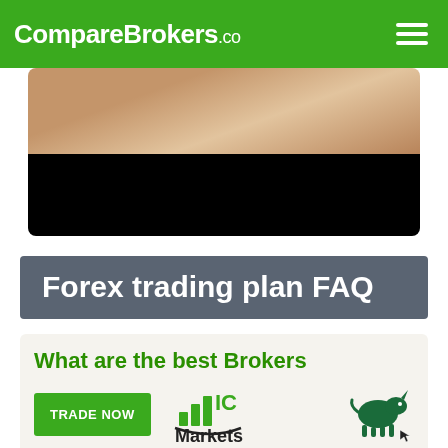CompareBrokers.co
[Figure (photo): Partial image of person with arms visible above a large black redacted/blacked-out bar, suggesting a cropped promotional photo on a white card background.]
Forex trading plan FAQ
What are the best Brokers
[Figure (logo): IC Markets logo with bar chart icon and 'IC Markets' text in green and black]
[Figure (illustration): Green bull icon with cursor/arrow pointer, representing trading/bullish market]
TRADE NOW
Losses can exceed deposits